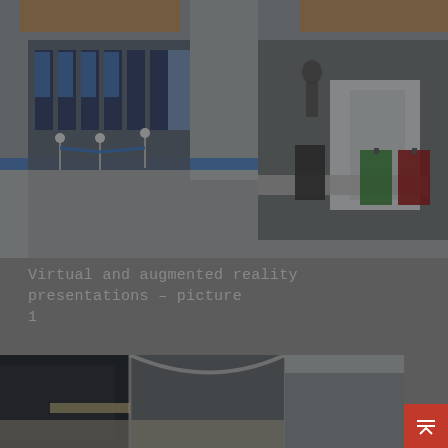[Figure (illustration): A virtual/augmented reality rendering of an airport security/check-in area showing automated self-service kiosks, rope barriers with stanchions, a security scanning machine, and luggage (green and red suitcases) on a conveyor. The scene has a dark overlay tint.]
Virtual and augmented reality presentations – picture 1
[Figure (illustration): A virtual/augmented reality rendering showing what appears to be an airport terminal interior with dark panels, structural beams, and curved architectural elements. The scene has a dark overlay tint.]